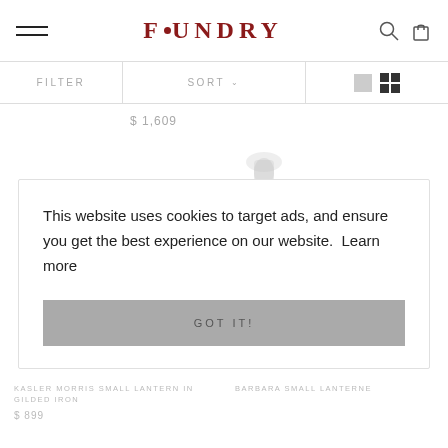FOUNDRY — website header with hamburger menu, logo, search and cart icons
FILTER
SORT
$ 1,609
[Figure (illustration): Faint/loading product image placeholder (lantern silhouette)]
This website uses cookies to target ads, and ensure you get the best experience on our website.  Learn more
GOT IT!
KASLER MORRIS SMALL LANTERN IN GILDED IRON
$ 899
BARBARA SMALL LANTERNE